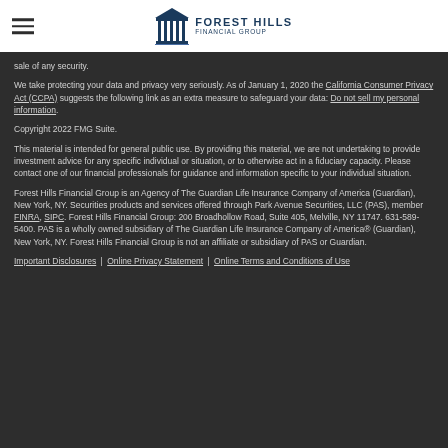[Figure (logo): Forest Hills Financial Group logo with building icon and text]
sale of any security.
We take protecting your data and privacy very seriously. As of January 1, 2020 the California Consumer Privacy Act (CCPA) suggests the following link as an extra measure to safeguard your data: Do not sell my personal information.
Copyright 2022 FMG Suite.
This material is intended for general public use. By providing this material, we are not undertaking to provide investment advice for any specific individual or situation, or to otherwise act in a fiduciary capacity. Please contact one of our financial professionals for guidance and information specific to your individual situation.
Forest Hills Financial Group is an Agency of The Guardian Life Insurance Company of America (Guardian), New York, NY. Securities products and services offered through Park Avenue Securities, LLC (PAS), member FINRA, SIPC. Forest Hills Financial Group: 200 Broadhollow Road, Suite 405, Melville, NY 11747. 631-589-5400. PAS is a wholly owned subsidiary of The Guardian Life Insurance Company of America® (Guardian), New York, NY. Forest Hills Financial Group is not an affiliate or subsidiary of PAS or Guardian.
Important Disclosures | Online Privacy Statement | Online Terms and Conditions of Use